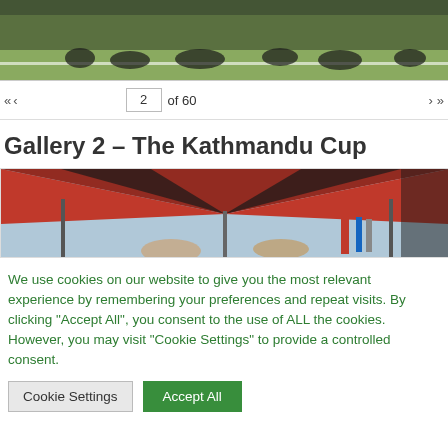[Figure (photo): Top portion of a photo showing people in dark clothing sitting on green grass with a white line marking]
« ‹   2  of 60   › »
Gallery 2 – The Kathmandu Cup
[Figure (photo): Photo showing a red and black tent/gazebo canopy structure with poles, sky visible, and people underneath]
We use cookies on our website to give you the most relevant experience by remembering your preferences and repeat visits. By clicking "Accept All", you consent to the use of ALL the cookies. However, you may visit "Cookie Settings" to provide a controlled consent.